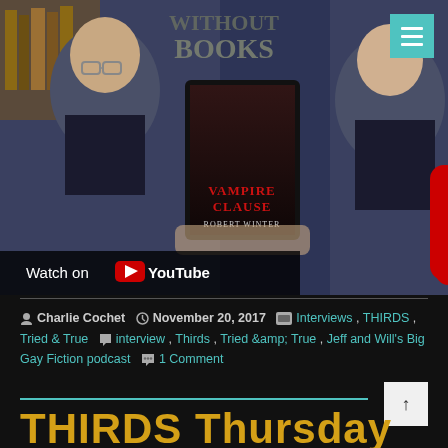[Figure (screenshot): YouTube video thumbnail showing two men, one holding a tablet displaying the book cover 'Vampire Clause' by Robert Winter. A red YouTube play button overlay is visible in the center. A 'Watch on YouTube' bar appears at the bottom left.]
Charlie Cochet  November 20, 2017  Interviews , THIRDS , Tried & True  interview , Thirds , Tried &amp; True , Jeff and Will's Big Gay Fiction podcast  1 Comment
THIRDS Thursday